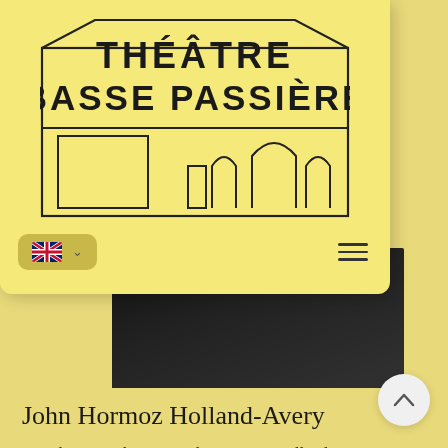[Figure (logo): Théâtre Basse Passière logo with building silhouette outline]
[Figure (screenshot): Navigation bar with UK flag language selector and hamburger menu]
[Figure (photo): Partial photo of John Hormoz Holland-Avery wearing black clothing, cropped and partially visible beneath header card]
John Hormoz Holland-Avery
British-Iranian baritone John Hormoz Holland-Avery is a prize-winning postgraduate from the Royal Northern College of Music, Manchester, during which time he was supported by the Mercers' Company and an Independent Opera Voice Scholarship.